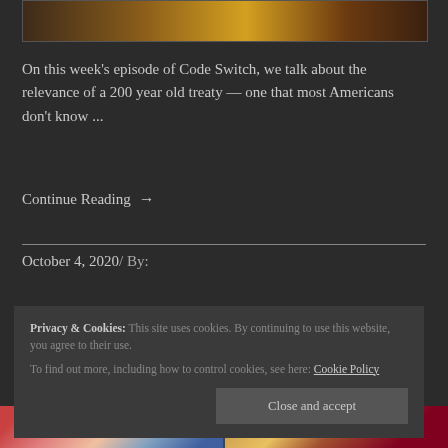[Figure (illustration): Partial illustration at top of page showing a stylized figure with orange/brown tones and yellow background elements]
On this week's episode of Code Switch, we talk about the relevance of a 200 year old treaty — one that most Americans don't know ...
Continue Reading →
October 4, 2020/ By:
Privacy & Cookies: This site uses cookies. By continuing to use this website, you agree to their use.
To find out more, including how to control cookies, see here: Cookie Policy
Close and accept
[Figure (illustration): Two partial article thumbnail images visible at the bottom of the page]